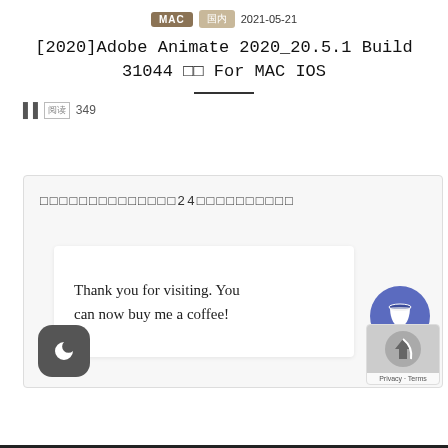MAC  [tag]  2021-05-21
[2020]Adobe Animate 2020_20.5.1 Build 31044 □□ For MAC IOS
📊 [阅读] 349
[Figure (screenshot): Website content card showing garbled text title with '24' visible, an inner white card with 'Thank you for visiting. You can now buy me a coffee!', a blue circle coffee cup button, a dark mode toggle button (crescent moon icon), and a reCAPTCHA badge in the lower right.]